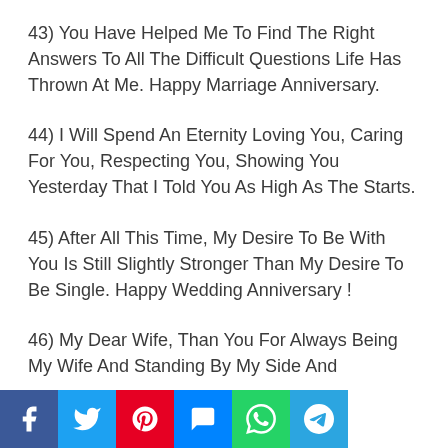43) You Have Helped Me To Find The Right Answers To All The Difficult Questions Life Has Thrown At Me. Happy Marriage Anniversary.
44) I Will Spend An Eternity Loving You, Caring For You, Respecting You, Showing You Yesterday That I Told You As High As The Starts.
45) After All This Time, My Desire To Be With You Is Still Slightly Stronger Than My Desire To Be Single. Happy Wedding Anniversary !
46) My Dear Wife, Than You For Always Being My Wife And Standing By My Side And